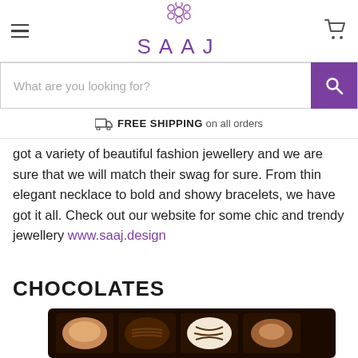SAAJ
What are you looking for?
FREE SHIPPING on all orders
got a variety of beautiful fashion jewellery and we are sure that we will match their swag for sure. From thin elegant necklace to bold and showy bracelets, we have got it all. Check out our website for some chic and trendy jewellery www.saaj.design
CHOCOLATES
[Figure (photo): Box of assorted chocolates seen from above, with multiple varieties of dark, milk, and white chocolate pieces in a black tray.]